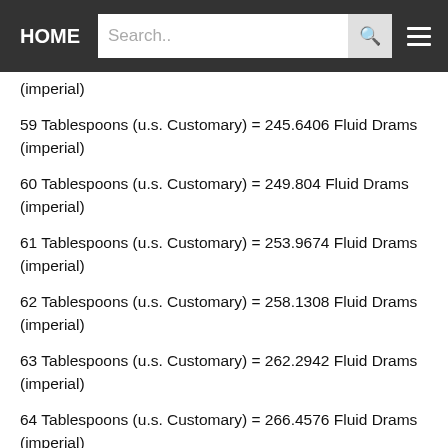HOME  Search..
(imperial)
59 Tablespoons (u.s. Customary) = 245.6406 Fluid Drams (imperial)
60 Tablespoons (u.s. Customary) = 249.804 Fluid Drams (imperial)
61 Tablespoons (u.s. Customary) = 253.9674 Fluid Drams (imperial)
62 Tablespoons (u.s. Customary) = 258.1308 Fluid Drams (imperial)
63 Tablespoons (u.s. Customary) = 262.2942 Fluid Drams (imperial)
64 Tablespoons (u.s. Customary) = 266.4576 Fluid Drams (imperial)
65 Tablespoons (u.s. Customary) = 270.621 Fluid Drams